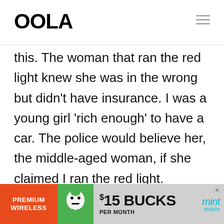OOLA
this. The woman that ran the red light knew she was in the wrong but didn't have insurance. I was a young girl 'rich enough' to have a car. The police would believe her, the middle-aged woman, if she claimed I ran the red light.
[Figure (infographic): Advertisement banner for Mint Mobile: PREMIUM WIRELESS, $15 BUCKS PER MONTH, with mascot and mint mobile logo]